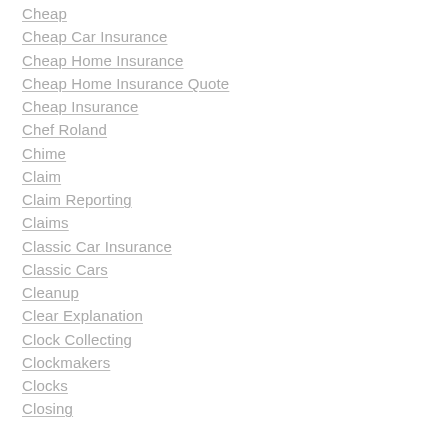Cheap
Cheap Car Insurance
Cheap Home Insurance
Cheap Home Insurance Quote
Cheap Insurance
Chef Roland
Chime
Claim
Claim Reporting
Claims
Classic Car Insurance
Classic Cars
Cleanup
Clear Explanation
Clock Collecting
Clockmakers
Clocks
Closing